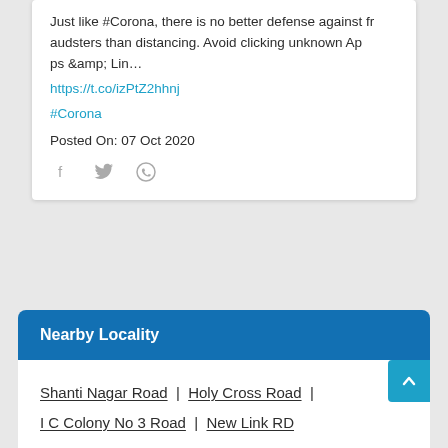Just like #Corona, there is no better defense against fr audsters than distancing. Avoid clicking unknown Apps &amp; Lin…
https://t.co/izPtZ2hhnj
#Corona
Posted On: 07 Oct 2020
Nearby Locality
Shanti Nagar Road | Holy Cross Road | I C Colony No 3 Road | New Link RD